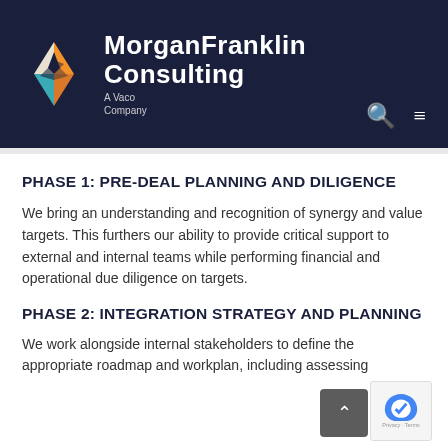[Figure (logo): MorganFranklin Consulting logo — dark navy header bar with a geometric diamond/compass star logo in orange, teal, and white, followed by the text 'MorganFranklin Consulting A Vaco Company' in white, with search and hamburger menu icons at bottom right.]
PHASE 1: PRE-DEAL PLANNING AND DILIGENCE
We bring an understanding and recognition of synergy and value targets. This furthers our ability to provide critical support to external and internal teams while performing financial and operational due diligence on targets.
PHASE 2: INTEGRATION STRATEGY AND PLANNING
We work alongside internal stakeholders to define the appropriate roadmap and workplan, including assessing